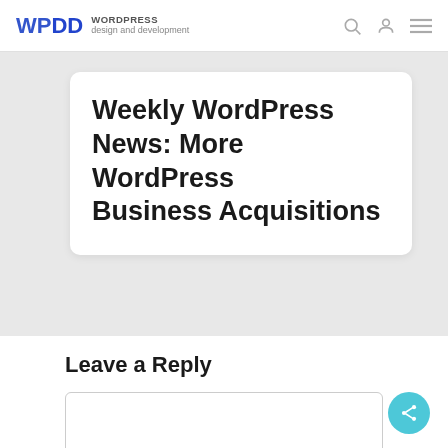WPDD WORDPRESS design and development
Weekly WordPress News: More WordPress Business Acquisitions
Leave a Reply
[Figure (other): Empty comment text area input box]